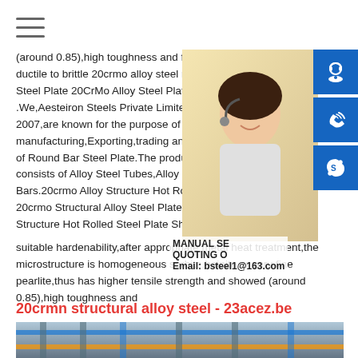[Figure (screenshot): Hamburger menu icon (three horizontal lines) at top left]
(around 0.85),high toughness and fatigue ductile to brittle 20crmo alloy steel round Steel Plate 20CrMo Alloy Steel Plates Ae .We,Aesteiron Steels Private Limited,est 2007,are known for the purpose of manufacturing,Exporting,trading and supply of Round Bar Steel Plate.The product range consists of Alloy Steel Tubes,Alloy Steel Bars.20crmo Alloy Structure Hot Rolled S 20crmo Structural Alloy Steel Plate - Buy Structure Hot Rolled Steel Plate Sheet A suitable hardenability,after appropriate metal heat treatment,the microstructure is homogeneous sorbite,bainite or very fine pearlite,thus has higher tensile strength and showed (around 0.85),high toughness and
[Figure (photo): Photo of a smiling Asian woman with headset, partial view on right side of page]
[Figure (infographic): Three blue square icon buttons on far right: customer service headset icon, phone/wifi icon, Skype icon]
MANUAL SE QUOTING O Email: bsteel1@163.com
20crmn structural alloy steel - 23acez.be
[Figure (photo): Industrial warehouse or steel structure facility interior, partial image at bottom of page]